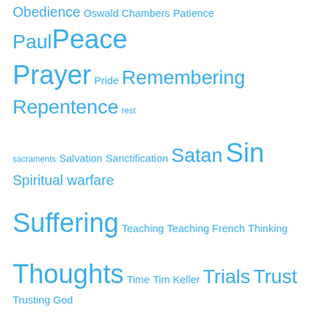Obedience  Oswald Chambers  Patience  Paul  Peace  Prayer  Pride  Remembering  Repentence  rest  sacraments  Salvation  Sanctification  Satan  Sin  Spiritual warfare  Suffering  Teaching  Teaching French  Thinking  Thoughts  Time  Tim Keller  Trials  Trust  Trusting God  Truth  Wait  William Gurnall  Wisdom  Words  Work  Worry  Worship
Readers' Comments
terrydpowell on Fighting fear, one breath at a…
Maria on God uses hairdressers to provi…